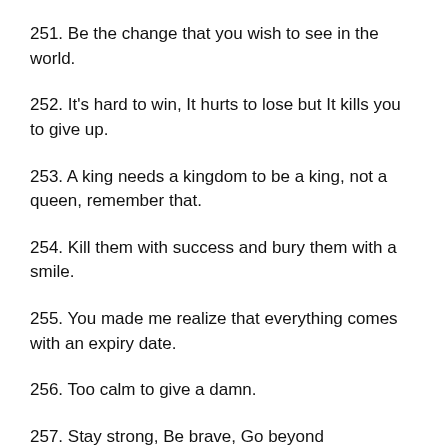251. Be the change that you wish to see in the world.
252. It's hard to win, It hurts to lose but It kills you to give up.
253. A king needs a kingdom to be a king, not a queen, remember that.
254. Kill them with success and bury them with a smile.
255. You made me realize that everything comes with an expiry date.
256. Too calm to give a damn.
257. Stay strong, Be brave, Go beyond